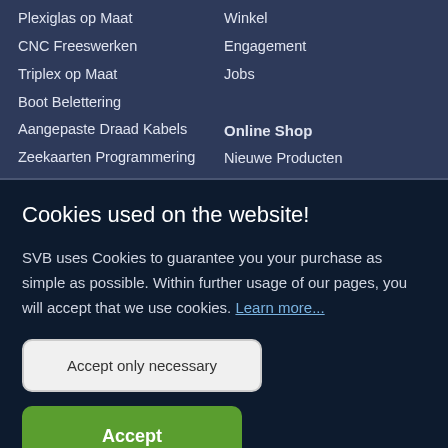Plexiglas op Maat
Winkel
CNC Freeswerken
Engagement
Triplex op Maat
Jobs
Boot Belettering
Aangepaste Draad Kabels
Online Shop
Zeekaarten Programmering
Nieuwe Producten
Cookies used on the website!
SVB uses Cookies to guarantee you your purchase as simple as possible. Within further usage of our pages, you will accept that we use cookies. Learn more...
Accept only necessary
Accept